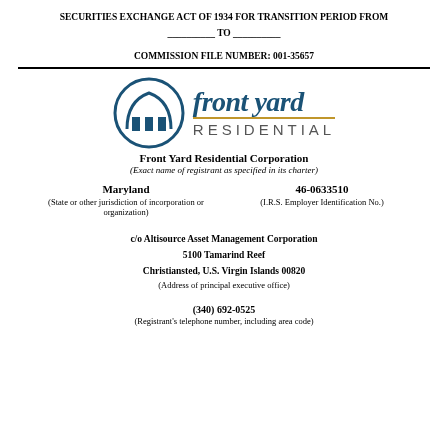SECURITIES EXCHANGE ACT OF 1934 FOR TRANSITION PERIOD FROM __________ TO __________
COMMISSION FILE NUMBER: 001-35657
[Figure (logo): Front Yard Residential Corporation logo — circular blue arch icon with 'front yard' in blue italic serif and 'RESIDENTIAL' in grey spaced caps below a gold underline]
Front Yard Residential Corporation
(Exact name of registrant as specified in its charter)
Maryland
46-0633510
(State or other jurisdiction of incorporation or organization)
(I.R.S. Employer Identification No.)
c/o Altisource Asset Management Corporation
5100 Tamarind Reef
Christiansted, U.S. Virgin Islands 00820
(Address of principal executive office)
(340) 692-0525
(Registrant's telephone number, including area code)